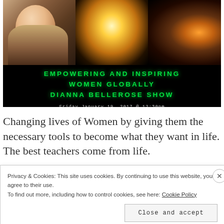[Figure (photo): Promotional banner for Dianna Bellerose Show with three images (woman with long hair, light bulb on dark background, spiral light art) and green neon-style text reading 'EMPOWERING AND INSPIRING WOMEN GLOBALLY DIANNA BELLEROSE SHOW' with date 'Friday January 19, 2017 @ 12:30pm' and call number '1-347-324-3714']
Changing lives of Women by giving them the necessary tools to become what they want in life. The best teachers come from life.
Privacy & Cookies: This site uses cookies. By continuing to use this website, you agree to their use. To find out more, including how to control cookies, see here: Cookie Policy